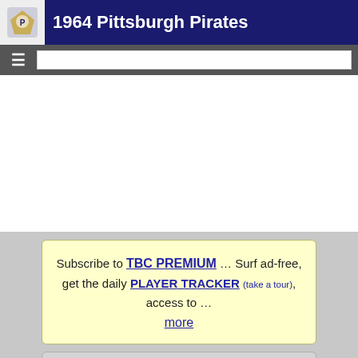1964 Pittsburgh Pirates
[Figure (screenshot): Advertisement / white space area]
Subscribe to TBC PREMIUM … Surf ad-free, get the daily PLAYER TRACKER (take a tour), access to … more
All games for selected team/season. Each game links to a boxscore and play-by-play (event log). Home runs for the selected team